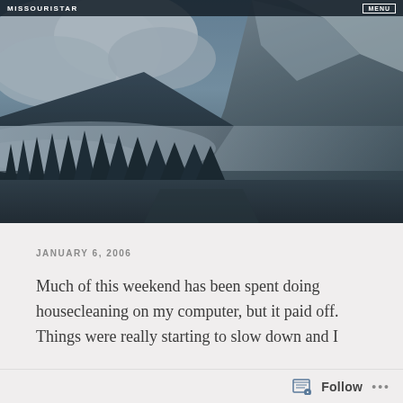MISSOURISTAR  MENU
[Figure (photo): Misty winter mountain landscape with snow-covered rocky peaks, evergreen pine trees in the foreground, and dramatic cloudy sky. Road or valley visible at the bottom.]
JANUARY 6, 2006
Much of this weekend has been spent doing housecleaning on my computer, but it paid off. Things were really starting to slow down and I
Follow  ...